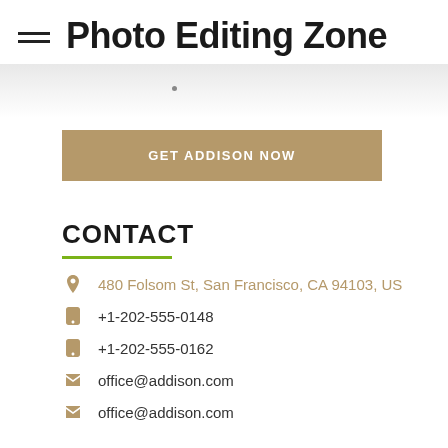Photo Editing Zone
[Figure (screenshot): Partial gray gradient band with a small dot, representing a partially visible website section]
GET ADDISON NOW
CONTACT
480 Folsom St, San Francisco, CA 94103, US
+1-202-555-0148
+1-202-555-0162
office@addison.com
office@addison.com